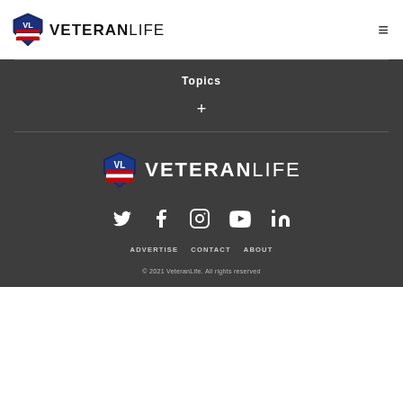VETERANLIFE
Topics
+
[Figure (logo): VeteranLife logo with shield emblem and VETERANLIFE text]
Social media icons: Twitter, Facebook, Instagram, YouTube, LinkedIn
ADVERTISE   CONTACT   ABOUT
© 2021 VeteranLife. All rights reserved